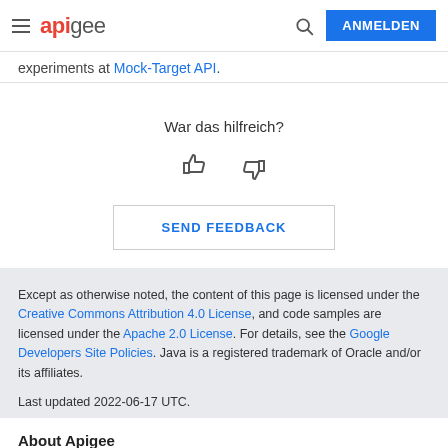apigee | ANMELDEN
experiments at Mock-Target API.
War das hilfreich?
[Figure (other): Thumbs up and thumbs down icons for feedback]
SEND FEEDBACK
Except as otherwise noted, the content of this page is licensed under the Creative Commons Attribution 4.0 License, and code samples are licensed under the Apache 2.0 License. For details, see the Google Developers Site Policies. Java is a registered trademark of Oracle and/or its affiliates.

Last updated 2022-06-17 UTC.
About Apigee